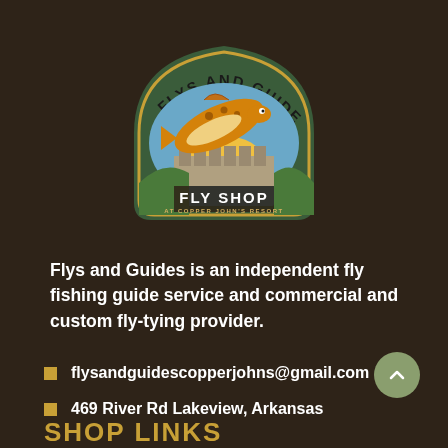[Figure (logo): Flys and Guides Fly Shop at Copper John's Resort logo — arched badge with trout jumping over dam, illustrated in vintage style]
Flys and Guides is an independent fly fishing guide service and commercial and custom fly-tying provider.
flysandguidescopperjohns@gmail.com
469 River Rd Lakeview, Arkansas
SHOP LINKS